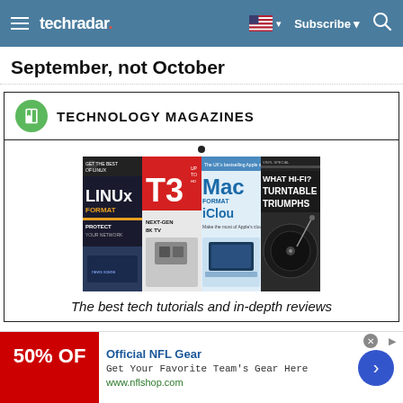techradar — Subscribe
September, not October
TECHNOLOGY MAGAZINES
[Figure (photo): Technology magazine covers including Linux Format, T3, Mac Format, and What Hi-Fi? displayed side by side]
The best tech tutorials and in-depth reviews
Official NFL Gear — Get Your Favorite Team's Gear Here — www.nflshop.com